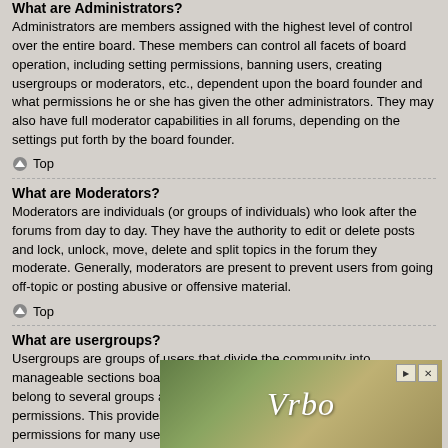What are Administrators?
Administrators are members assigned with the highest level of control over the entire board. These members can control all facets of board operation, including setting permissions, banning users, creating usergroups or moderators, etc., dependent upon the board founder and what permissions he or she has given the other administrators. They may also have full moderator capabilities in all forums, depending on the settings put forth by the board founder.
Top
What are Moderators?
Moderators are individuals (or groups of individuals) who look after the forums from day to day. They have the authority to edit or delete posts and lock, unlock, move, delete and split topics in the forum they moderate. Generally, moderators are present to prevent users from going off-topic or posting abusive or offensive material.
Top
What are usergroups?
Usergroups are groups of users that divide the community into manageable sections board administrators can work with. Each user can belong to several groups and each group can be assigned individual permissions. This provides an easy way for administrators to change permissions for many users at once, such as changing moderator permissions or granting users access to a private forum.
[Figure (other): Vrbo advertisement banner with green/nature background and stylized italic Vrbo logo with play and close buttons]